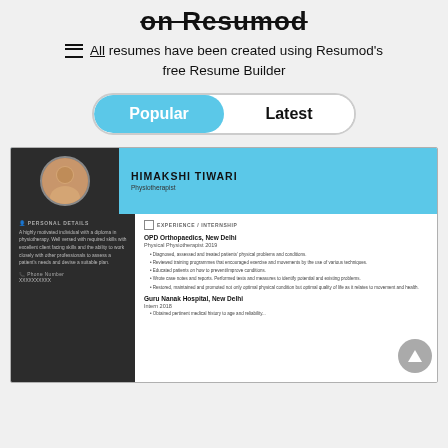on Resumod
All resumes have been created using Resumod's free Resume Builder
[Figure (screenshot): Tab switcher with 'Popular' (active, blue) and 'Latest' buttons]
[Figure (screenshot): Resume preview card for Himakshi Tiwari, Physiotherapist, with dark sidebar showing personal details and main section showing experience at OPD Orthopaedics New Delhi and Guru Nanak Hospital New Delhi]